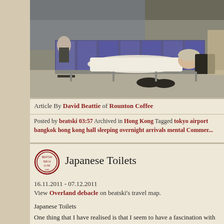[Figure (photo): Person lying across purple airport seats covered with a white blanket, shoes on the floor, another person sitting in background at an airport terminal]
Article By David Beattie of Rounton Coffee
Posted by beatski 03:57 Archived in Hong Kong Tagged tokyo airport bangkok hong kong hall sleeping overnight arrivals mental Comments
Japanese Toilets
16.11.2011 - 07.12.2011
View Overland debacle on beatski's travel map.
Japanese Toilets
One thing that I have realised is that I seem to have a fascination with